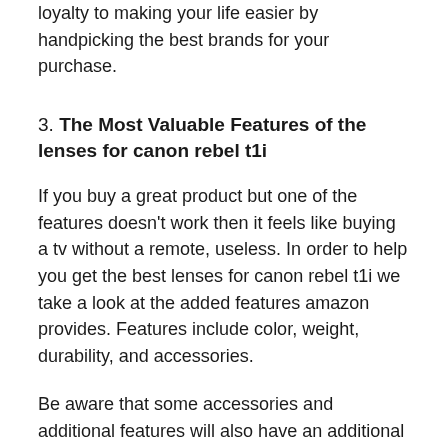loyalty to making your life easier by handpicking the best brands for your purchase.
3. The Most Valuable Features of the lenses for canon rebel t1i
If you buy a great product but one of the features doesn’t work then it feels like buying a tv without a remote, useless. In order to help you get the best lenses for canon rebel t1i we take a look at the added features amazon provides. Features include color, weight, durability, and accessories.
Be aware that some accessories and additional features will also have an additional cost. While doing product research